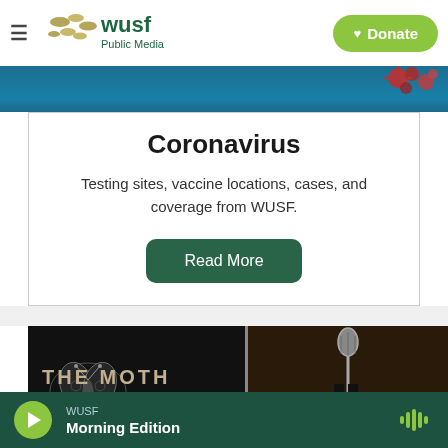WUSF Public Media — Donate
[Figure (screenshot): WUSF Public Media logo with stylized gold dots and green WUSF text, plus Public Media subtitle, alongside a green Donate button with heart icon]
[Figure (photo): Coronavirus banner image with blue gradient background and red coronavirus particles in upper right]
Coronavirus
Testing sites, vaccine locations, cases, and coverage from WUSF.
Read More
[Figure (photo): The Moth podcast/show promotional image with dark background, moth illustration on left and microphone stand with performer silhouette on right]
WUSF Morning Edition